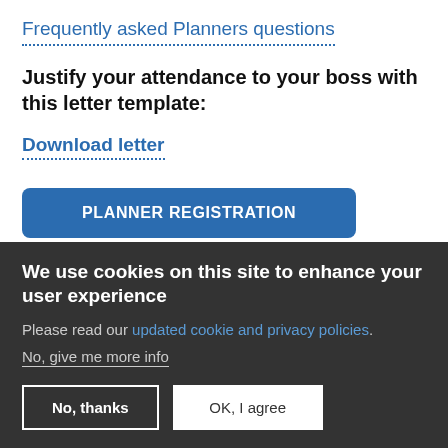Frequently asked Planners questions
Justify your attendance to your boss with this letter template:
Download letter
PLANNER REGISTRATION
We use cookies on this site to enhance your user experience
Please read our updated cookie and privacy policies.
No, give me more info
No, thanks
OK, I agree